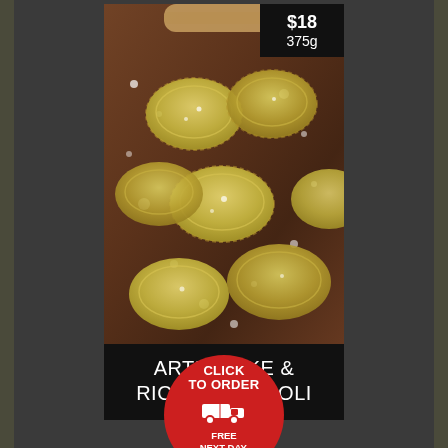[Figure (photo): Close-up photo of fresh artichoke and ricotta ravioli dusted with flour on a wooden surface, with a rolling pin and tomato visible in background. Price tag overlay shows $18 / 375g in top right corner.]
ARTICHOKE & RICOTTA RAVIOLI
CLICK TO ORDER
FREE NEXT DAY. DELIVERY